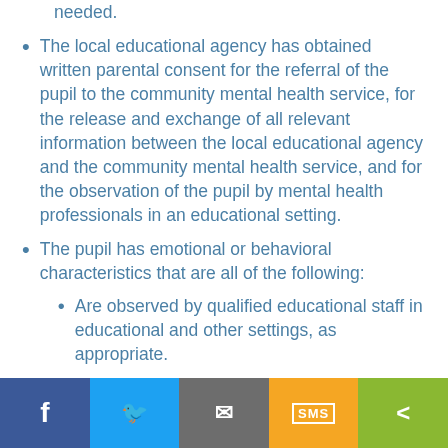needed.
The local educational agency has obtained written parental consent for the referral of the pupil to the community mental health service, for the release and exchange of all relevant information between the local educational agency and the community mental health service, and for the observation of the pupil by mental health professionals in an educational setting.
The pupil has emotional or behavioral characteristics that are all of the following:
Are observed by qualified educational staff in educational and other settings, as appropriate.
Impede the pupil from benefiting from educational services